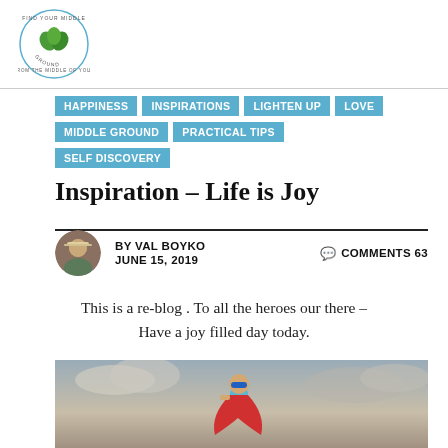[Figure (logo): Find Your Middle Ground circular logo with green heart/leaf motif]
HAPPINESS
INSPIRATIONS
LIGHTEN UP
LOVE
MIDDLE GROUND
PRACTICAL TIPS
SELF DISCOVERY
Inspiration – Life is Joy
BY VAL BOYKO
JUNE 15, 2019
COMMENTS 63
This is a re-blog . To all the heroes our there – Have a joy filled day today.
[Figure (photo): Child dressed as superhero with red cape and blue mask, standing against dramatic cloudy sky]